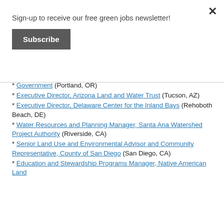Sign-up to receive our free green jobs newsletter!
Subscribe
* Government (Portland, OR)
* Executive Director, Arizona Land and Water Trust (Tucson, AZ)
* Executive Director, Delaware Center for the Inland Bays (Rehoboth Beach, DE)
* Water Resources and Planning Manager, Santa Ana Watershed Project Authority (Riverside, CA)
* Senior Land Use and Environmental Advisor and Community Representative, County of San Diego (San Diego, CA)
* Education and Stewardship Programs Manager, Native American Land